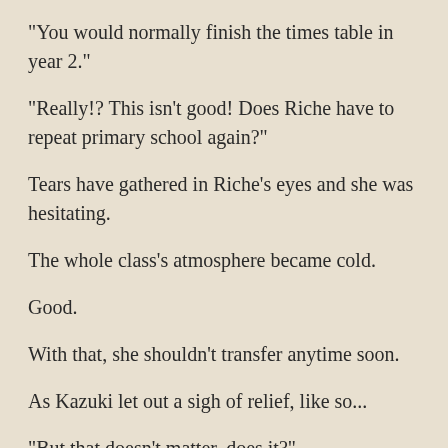"You would normally finish the times table in year 2."
"Really!? This isn't good! Does Riche have to repeat primary school again?"
Tears have gathered in Riche's eyes and she was hesitating.
The whole class's atmosphere became cold.
Good.
With that, she shouldn't transfer anytime soon.
As Kazuki let out a sigh of relief, like so...
"But that doesn't matter, does it?"
An unexpected person extended a hand towards Clarice.